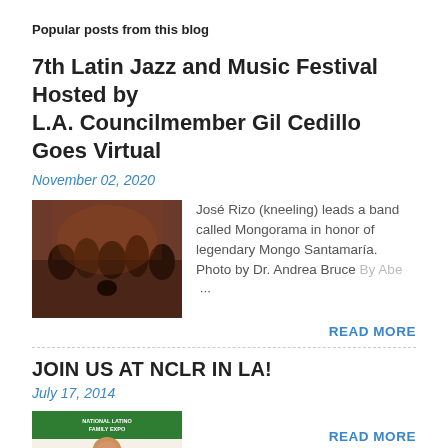Popular posts from this blog
7th Latin Jazz and Music Festival Hosted by L.A. Councilmember Gil Cedillo Goes Virtual
November 02, 2020
[Figure (photo): Group photo of band members with José Rizo kneeling in front]
José Rizo (kneeling) leads a band called Mongorama in honor of legendary Mongo Santamaría. Photo by Dr. Andrea Bruce By Abe …
READ MORE
JOIN US AT NCLR IN LA!
July 17, 2014
[Figure (photo): National Latino Family Expo banner with Dora the Explorer character]
READ MORE